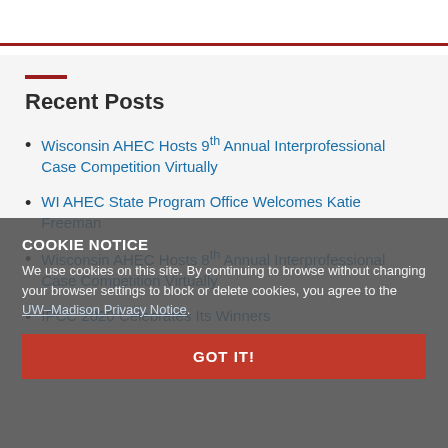Recent Posts
Wisconsin AHEC Hosts 9th Annual Interprofessional Case Competition Virtually
WI AHEC State Program Office Welcomes Katie Freeman
Wisconsin AHEC Hosts 8th Annual Interprofessional Case Competition Virtually
IPCC 2020 Celebrates Its Winners
COOKIE NOTICE
We use cookies on this site. By continuing to browse without changing your browser settings to block or delete cookies, you agree to the UW–Madison Privacy Notice.
GOT IT!